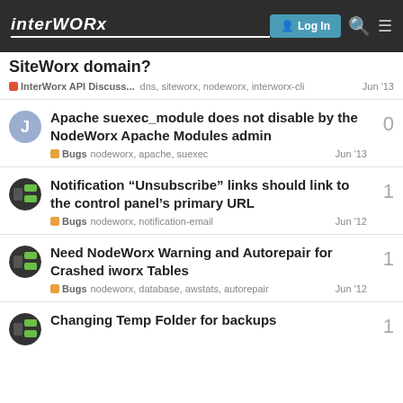interWORx — Log In
SiteWorx domain?
InterWorx API Discuss... | dns, siteworx, nodeworx, interworx-cli | Jun '13
Apache suexec_module does not disable by the NodeWorx Apache Modules admin
Bugs | nodeworx, apache, suexec | Jun '13 | 0
Notification "Unsubscribe" links should link to the control panel's primary URL
Bugs | nodeworx, notification-email | Jun '12 | 1
Need NodeWorx Warning and Autorepair for Crashed iworx Tables
Bugs | nodeworx, database, awstats, autorepair | Jun '12 | 1
Changing Temp Folder for backups